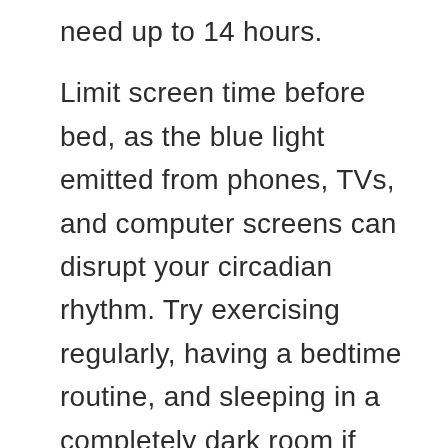need up to 14 hours.
Limit screen time before bed, as the blue light emitted from phones, TVs, and computer screens can disrupt your circadian rhythm. Try exercising regularly, having a bedtime routine, and sleeping in a completely dark room if you find it difficult to fall asleep at night.